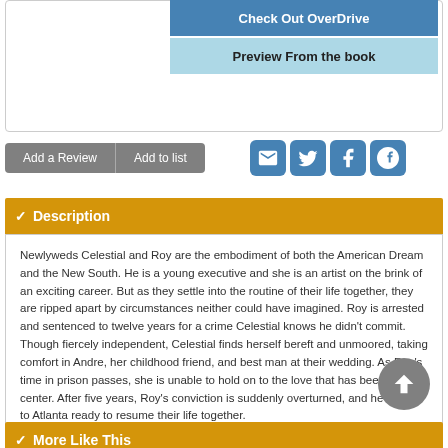Check Out OverDrive
Preview From the book
Add a Review
Add to list
✓ Description
Newlyweds Celestial and Roy are the embodiment of both the American Dream and the New South. He is a young executive and she is an artist on the brink of an exciting career. But as they settle into the routine of their life together, they are ripped apart by circumstances neither could have imagined. Roy is arrested and sentenced to twelve years for a crime Celestial knows he didn't commit. Though fiercely independent, Celestial finds herself bereft and unmoored, taking comfort in Andre, her childhood friend, and best man at their wedding. As Roy's time in prison passes, she is unable to hold on to the love that has been her center. After five years, Roy's conviction is suddenly overturned, and he returns to Atlanta ready to resume their life together.
✓ More Like This